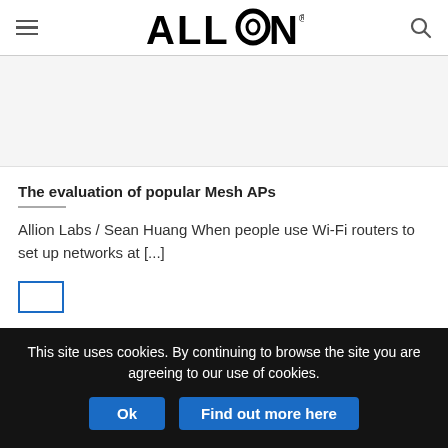ALLION
[Figure (other): Gray advertisement/banner placeholder area]
The evaluation of popular Mesh APs
Allion Labs / Sean Huang When people use Wi-Fi routers to set up networks at [...]
This site uses cookies. By continuing to browse the site you are agreeing to our use of cookies.